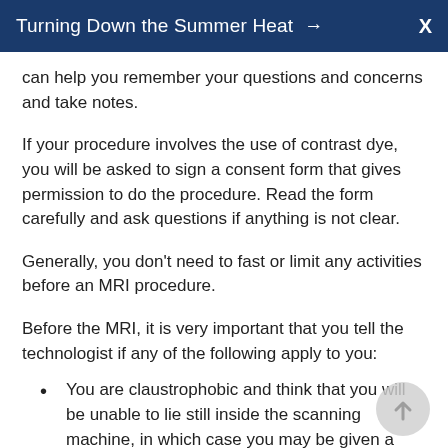Turning Down the Summer Heat →  X
can help you remember your questions and concerns and take notes.
If your procedure involves the use of contrast dye, you will be asked to sign a consent form that gives permission to do the procedure. Read the form carefully and ask questions if anything is not clear.
Generally, you don't need to fast or limit any activities before an MRI procedure.
Before the MRI, it is very important that you tell the technologist if any of the following apply to you:
You are claustrophobic and think that you will be unable to lie still inside the scanning machine, in which case you may be given a sedative
You have a pacemaker or have had heart valves